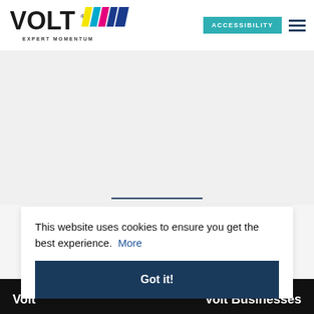[Figure (logo): Volt logo with colorful diagonal stripes and tagline EXPERT MOMENTUM]
ACCESSIBILITY
This website uses cookies to ensure you get the best experience. More
Got it!
Volt
Volt Businesses